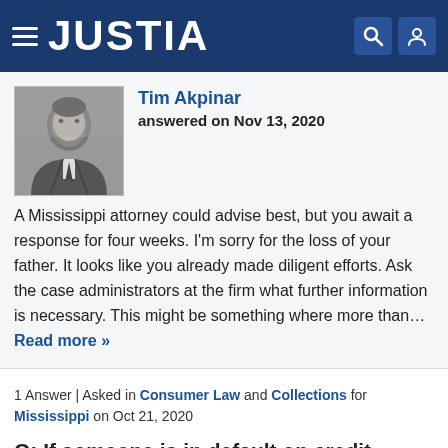JUSTIA
[Figure (photo): Black and white headshot photo of attorney Tim Akpinar]
Tim Akpinar
answered on Nov 13, 2020
A Mississippi attorney could advise best, but you await a response for four weeks. I'm sorry for the loss of your father. It looks like you already made diligent efforts. Ask the case administrators at the firm what further information is necessary. This might be something where more than... Read more »
1 Answer | Asked in Consumer Law and Collections for Mississippi on Oct 21, 2020
Q: If someone is in default on credit cards, what recourse do the creditors have?